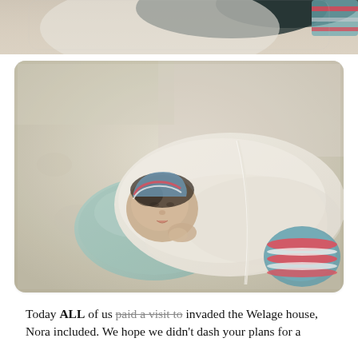[Figure (photo): Partial view of a photo at the top of the page showing the bottom portion of a person holding or near a newborn baby, cropped at the top edge.]
[Figure (photo): Photo of a newborn baby wrapped in a white blanket with a blue, red, and white striped hospital sock on one foot, laying on a beige floral-patterned bed surface with a small green pillow under the baby's head.]
Today ALL of us paid a visit to invaded the Welage house, Nora included. We hope we didn't dash your plans for a